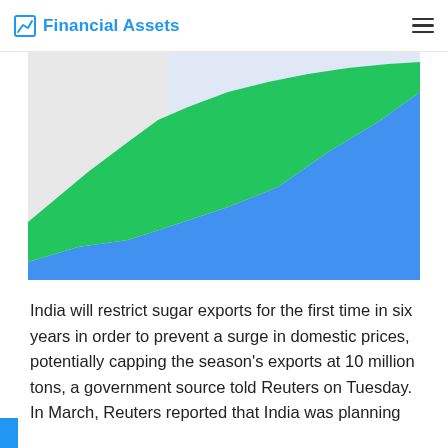Financial Assets
[Figure (area-chart): A two-series area chart showing upward trending data. Green area (upper series) rises steeply from lower left to upper right. Blue area (lower series) fills a large portion of the chart from left to right, rising over time. Background is light gray on the left portion.]
India will restrict sugar exports for the first time in six years in order to prevent a surge in domestic prices, potentially capping the season's exports at 10 million tons, a government source told Reuters on Tuesday.
In March, Reuters reported that India was planning